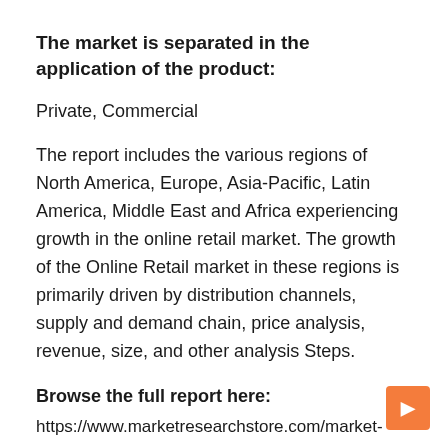The market is separated in the application of the product:
Private, Commercial
The report includes the various regions of North America, Europe, Asia-Pacific, Latin America, Middle East and Africa experiencing growth in the online retail market. The growth of the Online Retail market in these regions is primarily driven by distribution channels, supply and demand chain, price analysis, revenue, size, and other analysis Steps.
Browse the full report here:
https://www.marketresearchstore.com/market-